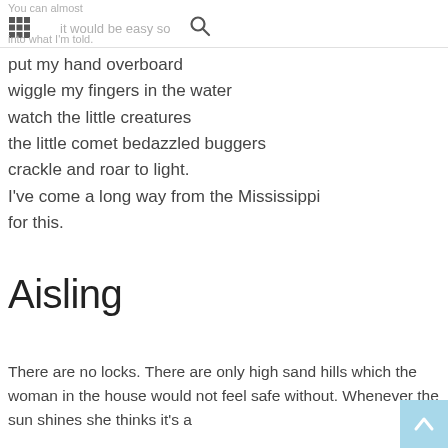You can almost / it would be easy so / into what I'm told.
put my hand overboard
wiggle my fingers in the water
watch the little creatures
the little comet bedazzled buggers
crackle and roar to light.
I've come a long way from the Mississippi
for this.
Aisling
There are no locks. There are only high sand hills which the woman in the house would not feel safe without. Whenever the sun shines she thinks it's a